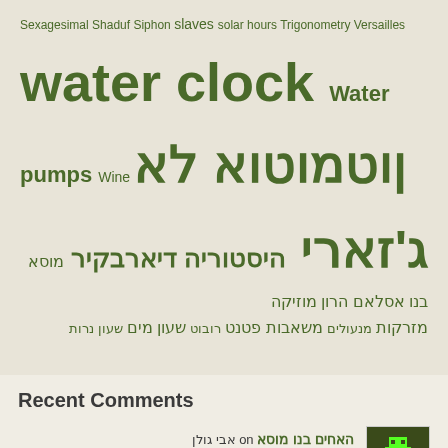Sexagesimal Shaduf Siphon slaves solar hours Trigonometry Versailles water clock Water pumps Wine אל אוטומטון ג'זארי היסטוריה דיארבקיר מוסא בנו אסלאם הרון מוזיקה מזרקות מנעולים משאבות פטנט רובוט שעון מים שעון נרות
Recent Comments
האחים בנו מוסא on אבי גולן
האחים בנו מוסא on מרית נ"צ (בן ישראל)
האחים בנו מוסא on א או א
האחים בנו מוסא on יעל